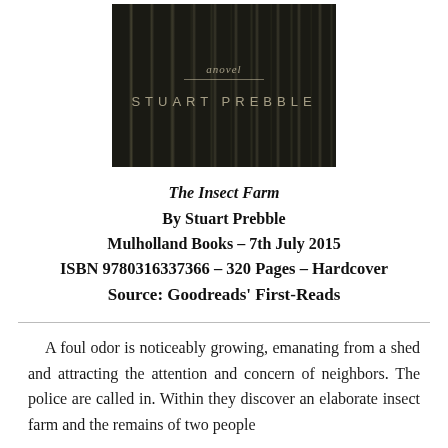[Figure (photo): Book cover of The Insect Farm by Stuart Prebble — dark textured background with vertical stripe pattern, cursive 'a novel' text, horizontal rule, and author name 'STUART PREBBLE' in spaced capital letters]
The Insect Farm
By Stuart Prebble
Mulholland Books – 7th July 2015
ISBN 9780316337366 – 320 Pages – Hardcover
Source: Goodreads' First-Reads
A foul odor is noticeably growing, emanating from a shed and attracting the attention and concern of neighbors. The police are called in. Within they discover an elaborate insect farm and the remains of two people